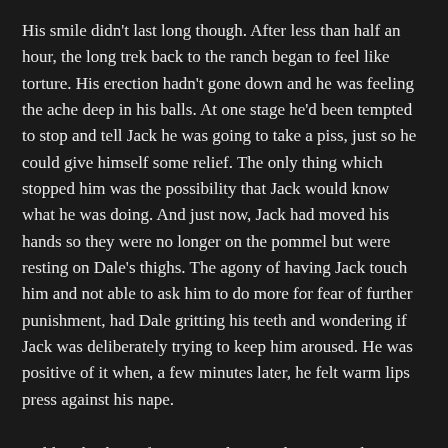His smile didn’t last long though. After less than half an hour, the long trek back to the ranch began to feel like torture. His erection hadn’t gone down and he was feeling the ache deep in his balls. At one stage he’d been tempted to stop and tell Jack he was going to take a piss, just so he could give himself some relief. The only thing which stopped him was the possibility that Jack would know what he was doing. And just now, Jack had moved his hands so they were no longer on the pommel but were resting on Dale’s thighs. The agony of having Jack touch him and not able to ask him to do more for fear of further punishment, had Dale gritting his teeth and wondering if Jack was deliberately trying to keep him aroused. He was positive of it when, a few minutes later, he felt warm lips press against his nape.
Holding back a soft moan, Dale started counting the steps his horse took to keep him focused on something else other than the raging need to twist back around in the saddle and claim those lips with his mouth.
“Dale?”